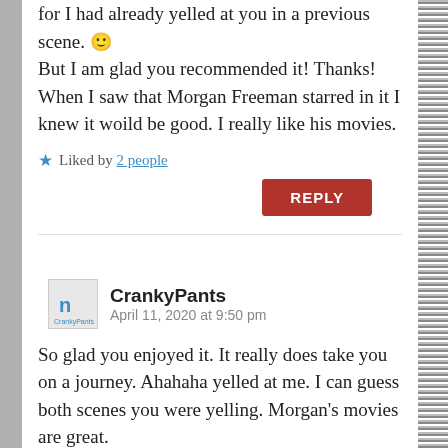for I had already yelled at you in a previous scene. 🙂 But I am glad you recommended it! Thanks! When I saw that Morgan Freeman starred in it I knew it woild be good. I really like his movies.
★ Liked by 2 people
REPLY
CrankyPants
April 11, 2020 at 9:50 pm
So glad you enjoyed it. It really does take you on a journey. Ahahaha yelled at me. I can guess both scenes you were yelling. Morgan's movies are great.
★ Liked by 2 people